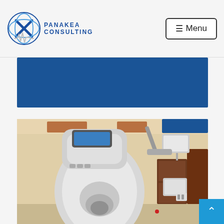PANAKEA CONSULTING — Menu
[Figure (photo): Blue banner/hero section on the Panakea Consulting website]
[Figure (photo): Medical radiation therapy room with a linear accelerator (LINAC) machine, beige walls, ceiling-mounted equipment, and dark wood doors]